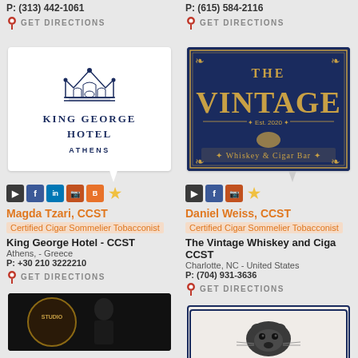P: (313) 442-1061
GET DIRECTIONS
P: (615) 584-2116
GET DIRECTIONS
[Figure (logo): King George Hotel Athens logo - crown illustration above text KING GEORGE HOTEL ATHENS]
[Figure (logo): The Vintage Whiskey and Cigar Bar logo - gold text on dark navy background, Est. 2020]
Magda Tzari, CCST
Certified Cigar Sommelier Tobacconist
King George Hotel - CCST
Athens, - Greece
P: +30 210 3222210
GET DIRECTIONS
Daniel Weiss, CCST
Certified Cigar Sommelier Tobacconist
The Vintage Whiskey and Cigar CCST
Charlotte, NC - United States
P: (704) 931-3636
GET DIRECTIONS
[Figure (photo): Dark photo showing a person with studio branding visible]
[Figure (illustration): Illustration of a dark animal (panther/bear) on light background with decorative border]